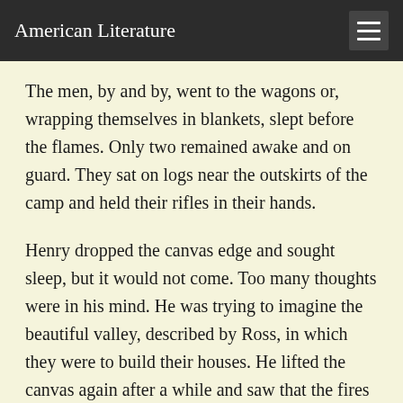American Literature
The men, by and by, went to the wagons or, wrapping themselves in blankets, slept before the flames. Only two remained awake and on guard. They sat on logs near the outskirts of the camp and held their rifles in their hands.
Henry dropped the canvas edge and sought sleep, but it would not come. Too many thoughts were in his mind. He was trying to imagine the beautiful valley, described by Ross, in which they were to build their houses. He lifted the canvas again after a while and saw that the fires had sunk lower than ever. The two men were still sitting on the logs and